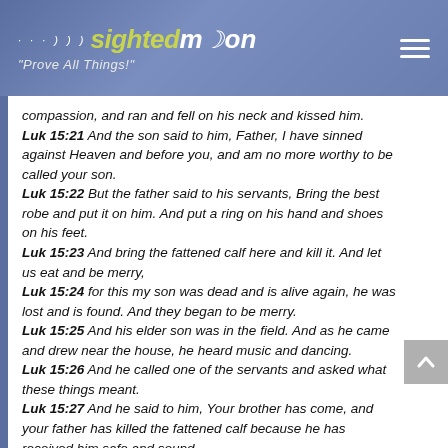sightedmoon — "Prove All Things!"
compassion, and ran and fell on his neck and kissed him. Luk 15:21  And the son said to him, Father, I have sinned against Heaven and before you, and am no more worthy to be called your son. Luk 15:22  But the father said to his servants, Bring the best robe and put it on him. And put a ring on his hand and shoes on his feet. Luk 15:23  And bring the fattened calf here and kill it. And let us eat and be merry, Luk 15:24  for this my son was dead and is alive again, he was lost and is found. And they began to be merry. Luk 15:25  And his elder son was in the field. And as he came and drew near the house, he heard music and dancing. Luk 15:26  And he called one of the servants and asked what these things meant. Luk 15:27  And he said to him, Your brother has come, and your father has killed the fattened calf because he has received him safe and sound. Luk 15:28  And he was angry and would not go in. Therefore his father came out and entreated him.